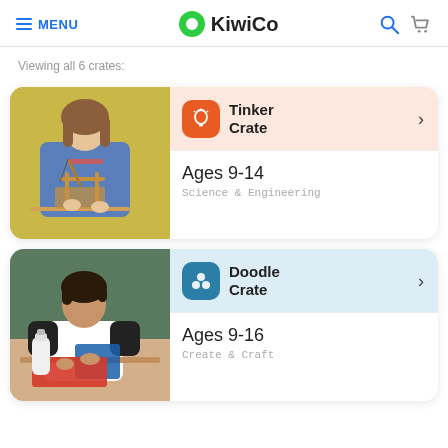MENU | KiwiCo
Viewing all 6 crates:
[Figure (screenshot): Photo of a girl building a wooden trebuchet model, Tinker Crate card. Ages 9-14, Science & Engineering.]
[Figure (screenshot): Photo of a boy doing a craft project with blue shapes, Doodle Crate card. Ages 9-16, Create & Craft.]